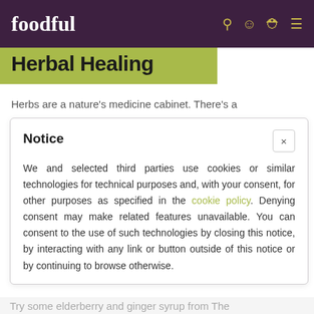foodful
Herbal Healing
Herbs are a nature's medicine cabinet. There's a
Notice
We and selected third parties use cookies or similar technologies for technical purposes and, with your consent, for other purposes as specified in the cookie policy. Denying consent may make related features unavailable. You can consent to the use of such technologies by closing this notice, by interacting with any link or button outside of this notice or by continuing to browse otherwise.
Try some elderberry and ginger syrup from The